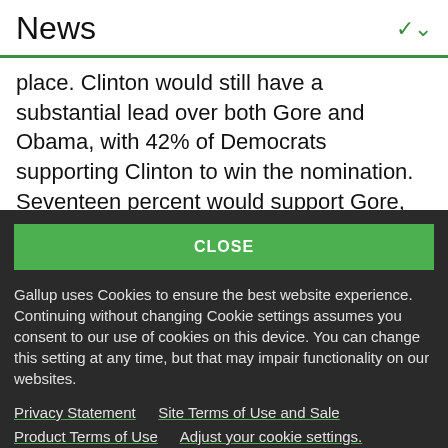News
place. Clinton would still have a substantial lead over both Gore and Obama, with 42% of Democrats supporting Clinton to win the nomination. Seventeen percent would support Gore, 16% Obama, and 9% Edwards.
CLOSE
Gallup uses Cookies to ensure the best website experience. Continuing without changing Cookie settings assumes you consent to our use of cookies on this device. You can change this setting at any time, but that may impair functionality on our websites.
Privacy Statement   Site Terms of Use and Sale
Product Terms of Use   Adjust your cookie settings.